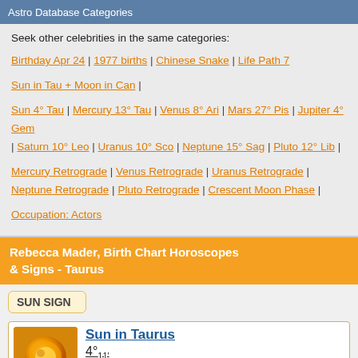Astro Database Categories
Seek other celebrities in the same categories:
Birthday Apr 24 | 1977 births | Chinese Snake | Life Path 7
Sun in Tau + Moon in Can |
Sun 4° Tau | Mercury 13° Tau | Venus 8° Ari | Mars 27° Pis | Jupiter 4° Gem | Saturn 10° Leo | Uranus 10° Sco | Neptune 15° Sag | Pluto 12° Lib |
Mercury Retrograde | Venus Retrograde | Uranus Retrograde | Neptune Retrograde | Pluto Retrograde | Crescent Moon Phase |
Occupation: Actors
Rebecca Mader, Birth Chart Horoscopes & Signs - Taurus
SUN SIGN
Sun in Taurus 4°11'